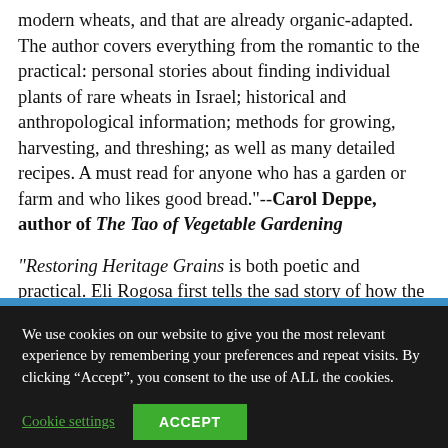modern wheats, and that are already organic-adapted. The author covers everything from the romantic to the practical: personal stories about finding individual plants of rare wheats in Israel; historical and anthropological information; methods for growing, harvesting, and threshing; as well as many detailed recipes. A must read for anyone who has a garden or farm and who likes good bread."--Carol Deppe, author of The Tao of Vegetable Gardening
“Restoring Heritage Grains is both poetic and practical. Eli Rogosa first tells the sad story of how the Green Revolution transformed the staff of life into a toxic-drenched monocrop. Then she shares the joyful story of
We use cookies on our website to give you the most relevant experience by remembering your preferences and repeat visits. By clicking “Accept”, you consent to the use of ALL the cookies.